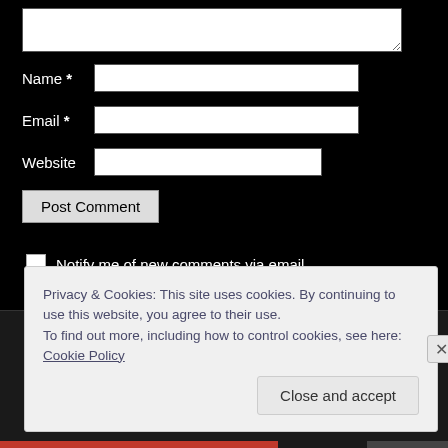[Figure (screenshot): Web form with fields for Name, Email, Website, Post Comment button, and notification checkboxes on black background]
Name *
Email *
Website
Post Comment
Notify me of new comments via email.
Notify me of new posts via email.
Privacy & Cookies: This site uses cookies. By continuing to use this website, you agree to their use.
To find out more, including how to control cookies, see here: Cookie Policy
Close and accept